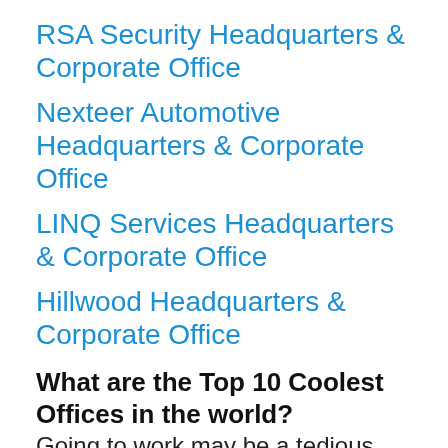RSA Security Headquarters & Corporate Office
Nexteer Automotive Headquarters & Corporate Office
LINQ Services Headquarters & Corporate Office
Hillwood Headquarters & Corporate Office
What are the Top 10 Coolest Offices in the world?
Going to work may be a tedious task for some but for others at certain offices it's better than partying out at any pub. So here are 10 offices that you wished you could get